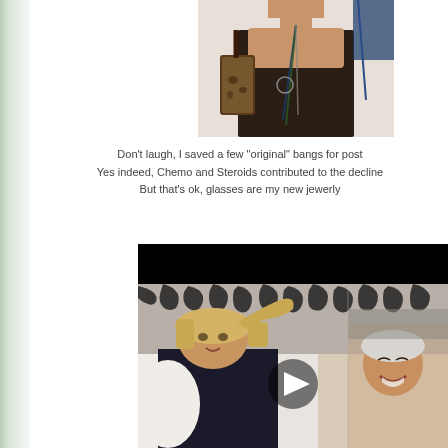[Figure (photo): Photo of a woman in a dark top wearing long beaded necklaces, holding a handbag with leopard print, cropped at the shoulders]
Don't laugh, I saved a few "original" bangs for post
Yes indeed, Chemo and Steroids contributed to the decline
But that's ok, glasses are my new jewerly
[Figure (photo): Video thumbnail showing a person with blonde hair on a zebra-print couch/background, with a play button overlay, and another person smiling visible to the right]